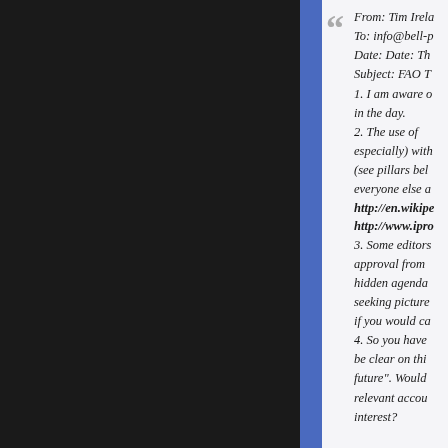From: Tim Irela... To: info@bell-p... Date: Date: Th... Subject: FAO T... 1. I am aware of... in the day. 2. The use of... especially) with... (see pillars bel... everyone else a... http://en.wikipe... http://www.ipro... 3. Some editors... approval from... hidden agenda... seeking picture... if you would ca... 4. So you have... be clear on thi... future". Would... relevant accou... interest?